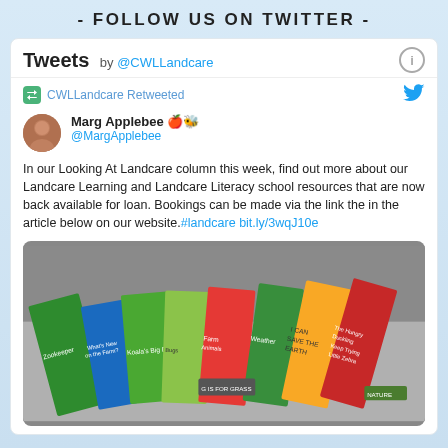- FOLLOW US ON TWITTER -
Tweets by @CWLLandcare
CWLLandcare Retweeted
Marg Applebee 🍎🐝 @MargApplebee
In our Looking At Landcare column this week, find out more about our Landcare Learning and Landcare Literacy school resources that are now back available for loan. Bookings can be made via the link the in the article below on our website.#landcare bit.ly/3wqJ10e
[Figure (photo): A collection of children's educational books laid out on a surface, including titles such as 'Koala's Big Day', 'Farm Animals', 'G is for Grass', 'Weather', 'Bugs', 'Zookeeper', 'I Can Save the Earth', 'Keep Trying Little Zebra', 'The Hungry Duckling', 'What's New on the Farm?', and others with nature and farm themes.]